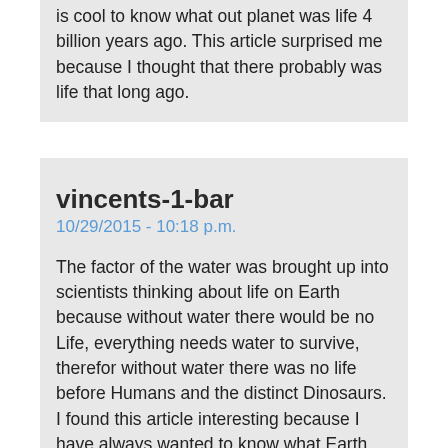is cool to know what our planet was life 4 billion years ago. This article surprised me because I thought that there probably was life that long ago.
vincents-1-bar
10/29/2015 - 10:18 p.m.
The factor of the water was brought up into scientists thinking about life on Earth because without water there would be no Life, everything needs water to survive, therefor without water there was no life before Humans and the distinct Dinosaurs. I found this article interesting because I have always wanted to know what Earth was like before Humans came in and destroyed its beautiful nature and spirit. I would like to know more about the physical geography of Earths surface before life and before water. Where there any trees? Where there any mountains? This article surprised me because what I knew and was told that